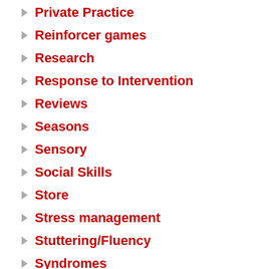Private Practice
Reinforcer games
Research
Response to Intervention
Reviews
Seasons
Sensory
Social Skills
Store
Stress management
Stuttering/Fluency
Syndromes
Telepractice
Thanksgiving
Therapy Techniques
Tip Tuesday
Toddlers
Tongue Thrust
Uncategorized
Vocabulary